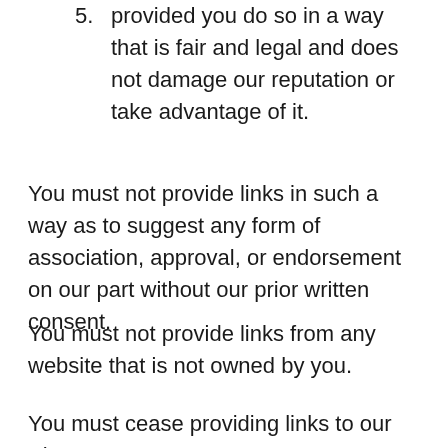5. provided you do so in a way that is fair and legal and does not damage our reputation or take advantage of it.
You must not provide links in such a way as to suggest any form of association, approval, or endorsement on our part without our prior written consent.
You must not provide links from any website that is not owned by you.
You must cease providing links to our Site